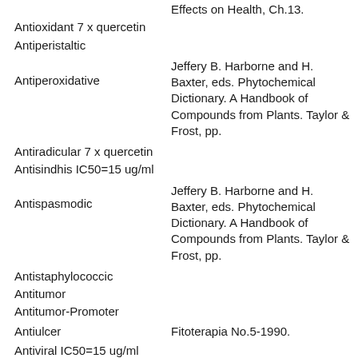Antioxidant 7 x quercetin
Antiperistaltic
Jeffery B. Harborne and H. Baxter, eds. Phytochemical Dictionary. A Handbook of Compounds from Plants. Taylor & Frost, pp.
Antiperoxidative
Antiradicular 7 x quercetin
Antisindhis IC50=15 ug/ml
Jeffery B. Harborne and H. Baxter, eds. Phytochemical Dictionary. A Handbook of Compounds from Plants. Taylor & Frost, pp.
Antispasmodic
Antistaphylococcic
Antitumor
Antitumor-Promoter
Antiulcer
Fitoterapia No.5-1990.
Antiviral IC50=15 ug/ml
Aphidifuge
Aromatase-Inhibitor IC45=1 uM/l
Journal of Medicinal Food 2: 235.1999
Cancer-Preventive
Stitt, P. A. Why George Should Eat Bro...